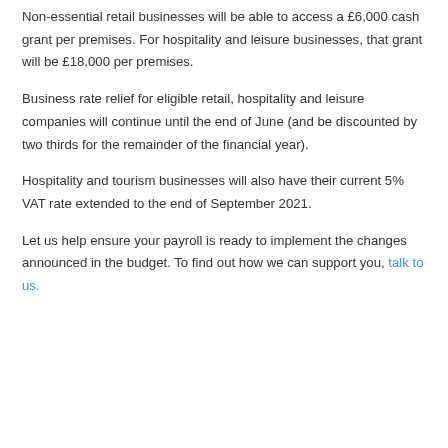Non-essential retail businesses will be able to access a £6,000 cash grant per premises. For hospitality and leisure businesses, that grant will be £18,000 per premises.
Business rate relief for eligible retail, hospitality and leisure companies will continue until the end of June (and be discounted by two thirds for the remainder of the financial year).
Hospitality and tourism businesses will also have their current 5% VAT rate extended to the end of September 2021.
Let us help ensure your payroll is ready to implement the changes announced in the budget. To find out how we can support you, talk to us.